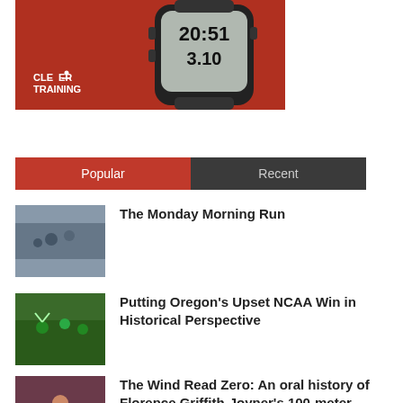[Figure (photo): Clever Training advertisement banner showing a GPS sport watch on red background with time display '20:51' and distance '3.10'. White 'CLEVER TRAINING' logo at bottom left.]
Popular
Recent
The Monday Morning Run
Putting Oregon's Upset NCAA Win in Historical Perspective
The Wind Read Zero: An oral history of Florence Griffith-Joyner's 100-meter world record
10 important tips for running a Beer